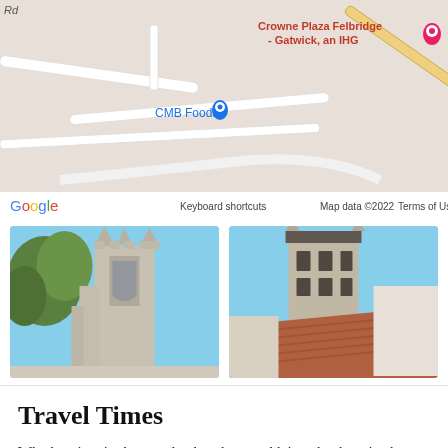[Figure (map): Google Maps screenshot showing area near Crowne Plaza Felbridge Gatwick IHG hotel and CMB Foods, with road network visible. Map footer shows 'Keyboard shortcuts', 'Map data ©2022', 'Terms of Use'.]
[Figure (photo): Two side-by-side photographs of Gothic church towers. Left photo: upward-angled view of a stone church tower with Gothic tracery windows, surrounded by green trees against a blue sky. Right photo: similar Gothic stone church tower with louvred belfry openings, with red/terracotta tiled rooftops in the foreground, blue sky behind.]
Travel Times
Whether time is short or the days long and leisurely, there is plenty of interest in the wider area, not least because the Surrey/Sussex border boasts more than its fair share of